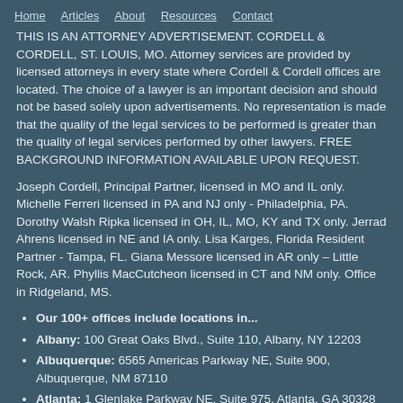Home   Articles   About   Resources   Contact
THIS IS AN ATTORNEY ADVERTISEMENT. CORDELL & CORDELL, ST. LOUIS, MO. Attorney services are provided by licensed attorneys in every state where Cordell & Cordell offices are located. The choice of a lawyer is an important decision and should not be based solely upon advertisements. No representation is made that the quality of the legal services to be performed is greater than the quality of legal services performed by other lawyers. FREE BACKGROUND INFORMATION AVAILABLE UPON REQUEST.
Joseph Cordell, Principal Partner, licensed in MO and IL only. Michelle Ferreri licensed in PA and NJ only - Philadelphia, PA. Dorothy Walsh Ripka licensed in OH, IL, MO, KY and TX only. Jerrad Ahrens licensed in NE and IA only. Lisa Karges, Florida Resident Partner - Tampa, FL. Giana Messore licensed in AR only – Little Rock, AR. Phyllis MacCutcheon licensed in CT and NM only. Office in Ridgeland, MS.
Our 100+ offices include locations in...
Albany: 100 Great Oaks Blvd., Suite 110, Albany, NY 12203
Albuquerque: 6565 Americas Parkway NE, Suite 900, Albuquerque, NM 87110
Atlanta: 1 Glenlake Parkway NE, Suite 975, Atlanta, GA 30328
Belleville: 100 W. Main St., 2nd Floor, Belleville, IL 62220
Boise: 101 S. Capitol Blvd., Suite 500, Boise, ID 83702